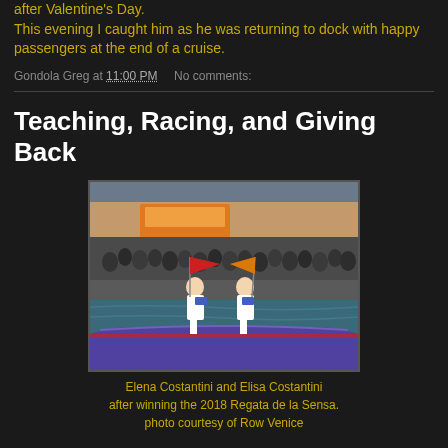after Valentine's Day.
This evening I caught him as he was returning to dock with happy passengers at the end of a cruise.
Gondola Greg at 11:00 PM   No comments:
Teaching, Racing, and Giving Back
[Figure (photo): Two women in white outfits standing on a purple boat holding red and yellow flags, with a crowd watching from the waterfront behind them. Elena Costantini and Elisa Costantini after winning the 2018 Regata de la Sensa.]
Elena Costantini and Elisa Costantini after winning the 2018 Regata de la Sensa.
photo courtesy of Row Venice